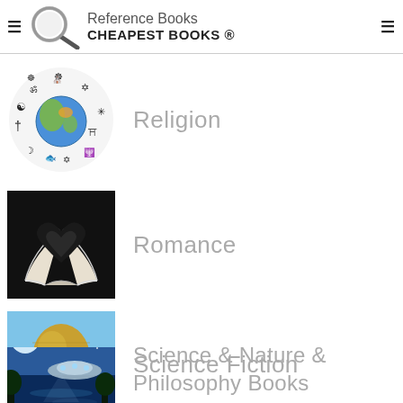Reference Books CHEAPEST BOOKS ®
Religion
Romance
Science & Nature & Philosophy Books
Science Fiction